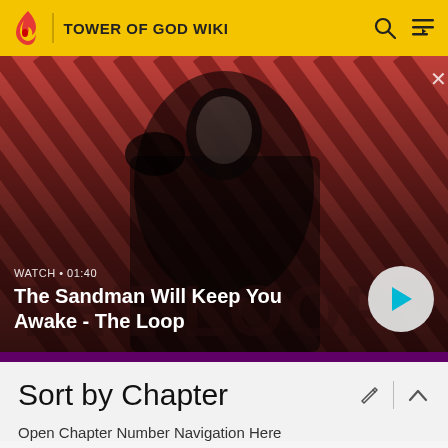TOWER OF GOD WIKI
[Figure (screenshot): Video thumbnail for 'The Sandman Will Keep You Awake - The Loop' with a dark-clad figure against a red diagonal stripe background. Shows WATCH • 01:40 label and a play button.]
WATCH • 01:40
The Sandman Will Keep You Awake - The Loop
Sort by Chapter
Open Chapter Number Navigation Here